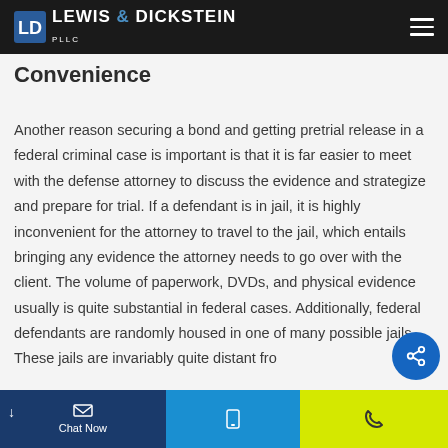Lewis & Dickstein PLLC
Convenience
Another reason securing a bond and getting pretrial release in a federal criminal case is important is that it is far easier to meet with the defense attorney to discuss the evidence and strategize and prepare for trial. If a defendant is in jail, it is highly inconvenient for the attorney to travel to the jail, which entails bringing any evidence the attorney needs to go over with the client. The volume of paperwork, DVDs, and physical evidence usually is quite substantial in federal cases. Additionally, federal defendants are randomly housed in one of many possible jails. These jails are invariably quite distant fro...
Chat Now